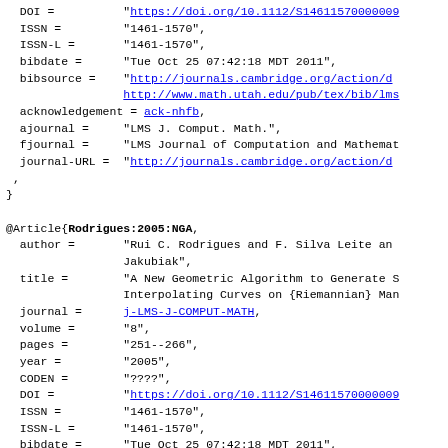BibTeX bibliography entries showing partial record fields including DOI, ISSN, ISSN-L, bibdate, bibsource, acknowledgement, ajournal, fjournal, journal-URL, onlinedate, followed by @Article{Rodrigues:2005:NGA, with author, title, journal, volume, pages, year, CODEN, DOI, ISSN, ISSN-L, bibdate, bibsource, acknowledgement fields